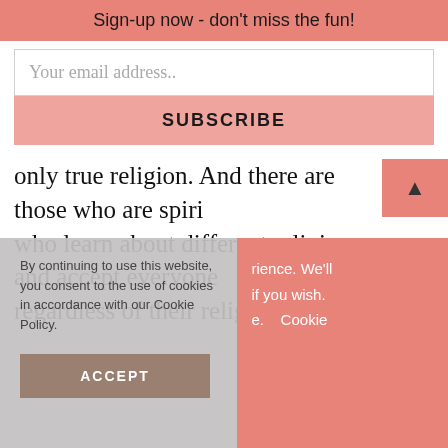Sign-up now - don't miss the fun!
Your email address..
SUBSCRIBE
only true religion. And there are those who are spiri who learn about different religions and accept everyone regardless of their religion. This is where I am. I've learned so much about everyone and I accept everyone. I do not try to get people to denounce their religion or
By continuing to use this website, you consent to the use of cookies in accordance with our Cookie Policy.
rience. We'll if you wish. e.   Cookie
ACCEPT